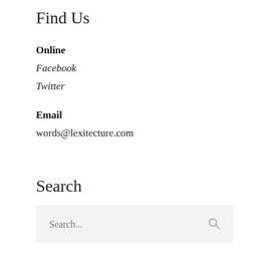Find Us
Online
Facebook
Twitter
Email
words@lexitecture.com
Search
Search...